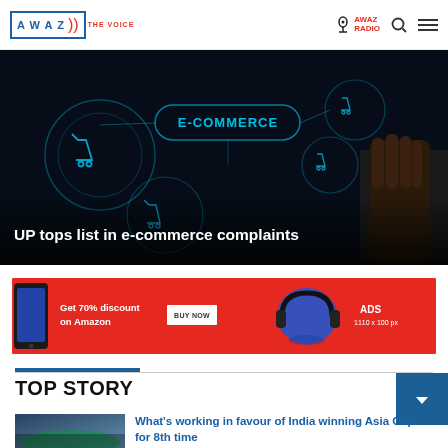AWAZ THE VOICE | AWAZ RADIO
[Figure (photo): Dark e-commerce technology concept image showing shopping cart icons, circular UI elements, and 'E-COMMERCE' text glowing in a digital interface, with a hand touching the screen. Text overlay reads 'UP tops list in e-commerce complaints']
[Figure (infographic): Red advertisement banner with phone image on left, text 'Get 70% discount on Amazon', a 'BUY NOW' button, blue headphones image, and 'ADS 1110 x 100 px' text on right]
TOP STORY
[Figure (photo): Cricket stadium photo thumbnail]
What's working in favour of India winning Asia Cup for 8th time